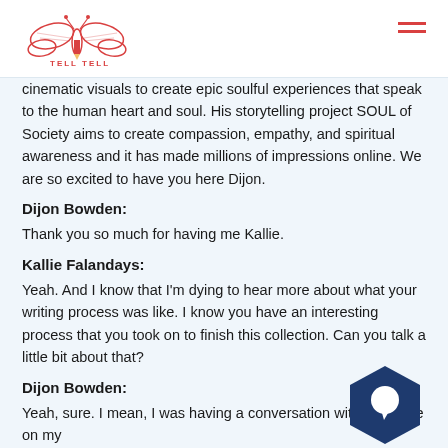Tell Tell logo and navigation
cinematic visuals to create epic soulful experiences that speak to the human heart and soul. His storytelling project SOUL of Society aims to create compassion, empathy, and spiritual awareness and it has made millions of impressions online. We are so excited to have you here Dijon.
Dijon Bowden:
Thank you so much for having me Kallie.
Kallie Falandays:
Yeah. And I know that I'm dying to hear more about what your writing process was like. I know you have an interesting process that you took on to finish this collection. Can you talk a little bit about that?
Dijon Bowden:
Yeah, sure. I mean, I was having a conversation with someone on my